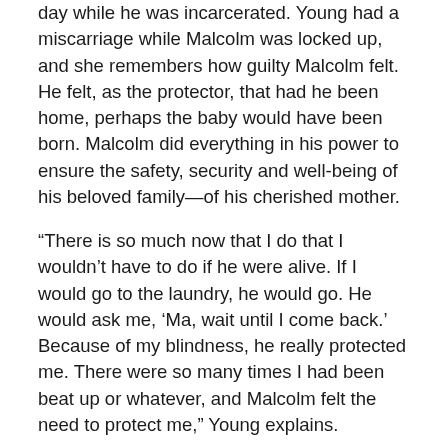day while he was incarcerated. Young had a miscarriage while Malcolm was locked up, and she remembers how guilty Malcolm felt. He felt, as the protector, that had he been home, perhaps the baby would have been born. Malcolm did everything in his power to ensure the safety, security and well-being of his beloved family—of his cherished mother.
“There is so much now that I do that I wouldn’t have to do if he were alive. If I would go to the laundry, he would go. He would ask me, ‘Ma, wait until I come back.’ Because of my blindness, he really protected me. There were so many times I had been beat up or whatever, and Malcolm felt the need to protect me,” Young explains.
One time, Young was standing outside of her building when someone asked her for directions, and as Young began to search through her purse, Malcolm was at the